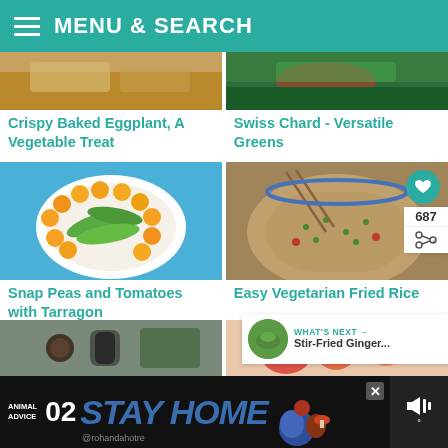MENU & SEARCH
[Figure (photo): Cropped top portion of crispy baked eggplant dish]
[Figure (photo): Cropped top portion of Swiss chard dish]
Crispy Baked Eggplant, A Vegetable Treat
Swiss Chard - Versatile Greens
[Figure (photo): Bowl with snap peas and orange cherry tomatoes on blue background]
[Figure (photo): Bowl of vegetarian fried rice with chopsticks]
Snap Peas and Tomatoes with Tarragon
Easy Vegetarian Fried Rice
687
[Figure (photo): What's Next thumbnail: Stir-Fried Ginger...]
WHAT'S NEXT → Stir-Fried Ginger...
[Figure (photo): Bottom left partial food photo]
[Figure (photo): Bottom right partial food photo with peppers]
[Figure (infographic): Animal Advice STAY HOME advertisement banner with number 02 and @rohandahotre]